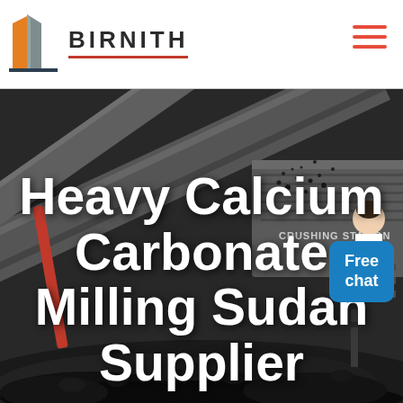BIRNITH
[Figure (photo): Industrial crushing station machinery with coal/rock material being processed, dark moody industrial background with heavy equipment]
Heavy Calcium Carbonate Milling Sudan Supplier
Free chat